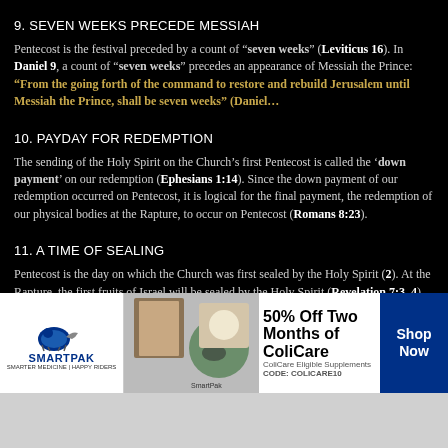9. SEVEN WEEKS PRECEDE MESSIAH
Pentecost is the festival preceded by a count of “seven weeks” (Leviticus 16). In Daniel 9, a count of “seven weeks” precedes an appearance of Messiah the Prince: “From the going forth of the command to restore and rebuild Jerusalem until Messiah the Prince, shall be seven weeks” (Daniel…
10. PAYDAY FOR REDEMPTION
The sending of the Holy Spirit on the Church’s first Pentecost is called the ‘down payment’ on our redemption (Ephesians 1:14). Since the down payment of our redemption occurred on Pentecost, it is logical for the final payment, the redemption of our physical bodies at the Rapture, to occur on Pentecost (Romans 8:23).
11. A TIME OF SEALING
Pentecost is the day on which the Church was first sealed by the Holy Spirit (2). At the Rapture, the first fruits of Israel will be sealed by the Holy Spirit (Revelation 7:3, 4). If the sealing of the Church on Pentecost was the model, sealing of Israel at the Rapture may occur on Pentecost as well.
[Figure (advertisement): SmartPak advertisement: 50% Off Two Months of ColiCare with code COLICARE10, Shop Now button]